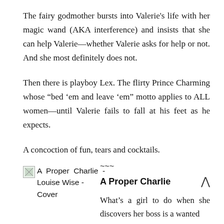The fairy godmother bursts into Valerie's life with her magic wand (AKA interference) and insists that she can help Valerie—whether Valerie asks for help or not. And she most definitely does not.
Then there is playboy Lex. The flirty Prince Charming whose “bed ’em and leave ’em” motto applies to ALL women—until Valerie fails to fall at his feet as he expects.
A concoction of fun, tears and cocktails.
[Figure (illustration): Book cover image placeholder for 'A Proper Charlie - Louise Wise - Cover']
~~~
A Proper Charlie
What’s a girl to do when she discovers her boss is a wanted